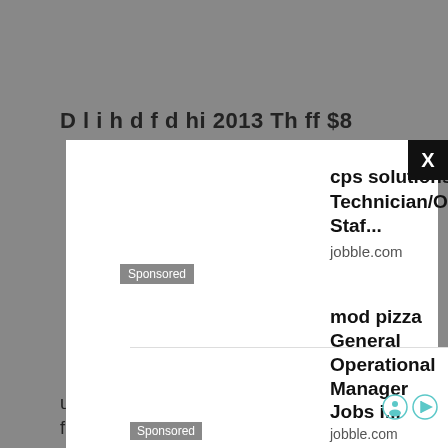D l i h d f d hi 2013 Th ff $8
[Figure (screenshot): Sponsored advertisement modal overlay for 'cps solutions llc Technician/Operational Staf...' from jobble.com, with a black X close button in top right corner]
cps solutions llc Technician/Operational Staf...
jobble.com
Sponsored
[Figure (screenshot): Video player error message: 'The media could not be loaded, either because the server or network failed or because the format is not supported.' with large X overlay]
The media could not be loaded, either because the server or network failed or because the format is not supported.
up th
finan
mod pizza General Operational Manager Jobs i...
jobble.com
Sponsored